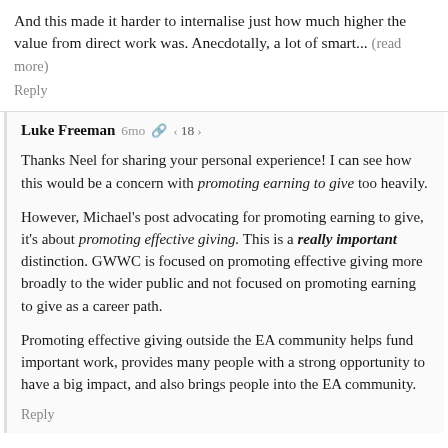And this made it harder to internalise just how much higher the value from direct work was. Anecdotally, a lot of smart... (read more)
Reply
Luke Freeman  6mo  18
Thanks Neel for sharing your personal experience! I can see how this would be a concern with promoting earning to give too heavily.
However, Michael's post advocating for promoting earning to give, it's about promoting effective giving. This is a really important distinction. GWWC is focused on promoting effective giving more broadly to the wider public and not focused on promoting earning to give as a career path.
Promoting effective giving outside the EA community helps fund important work, provides many people with a strong opportunity to have a big impact, and also brings people into the EA community.
Reply